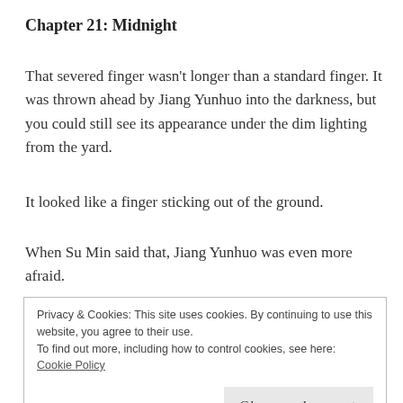Chapter 21: Midnight
That severed finger wasn't longer than a standard finger. It was thrown ahead by Jiang Yunhuo into the darkness, but you could still see its appearance under the dim lighting from the yard.
It looked like a finger sticking out of the ground.
When Su Min said that, Jiang Yunhuo was even more afraid.
Privacy & Cookies: This site uses cookies. By continuing to use this website, you agree to their use.
To find out more, including how to control cookies, see here: Cookie Policy
Close and accept